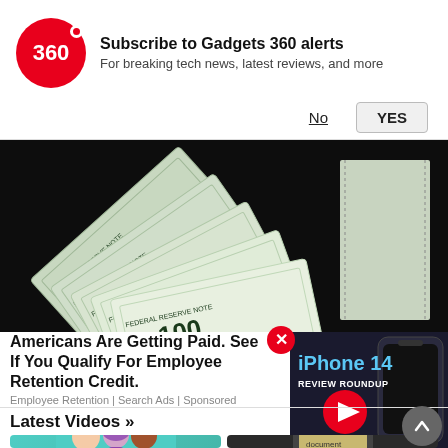[Figure (screenshot): Gadgets 360 browser notification popup with red 360 logo, title 'Subscribe to Gadgets 360 alerts', subtitle 'For breaking tech news, latest reviews, and more', with No and YES buttons]
[Figure (photo): Fan of US $100 dollar bills spread out on a dark background]
Americans Are Getting Paid. See If You Qualify For Employee Retention Credit.
Employee Retention | Search Ads | Sponsored
[Figure (screenshot): iPhone 14 review roundup video thumbnail with red play button]
Latest Videos »
[Figure (screenshot): Two video thumbnails at the bottom of the page - one with cartoon characters on teal background, one with a tablet device on dark background]